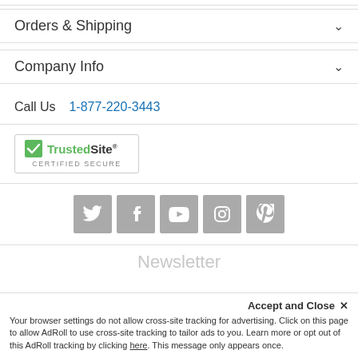Search Links (partial, top)
Orders & Shipping
Company Info
Call Us  1-877-220-3443
[Figure (logo): TrustedSite Certified Secure badge with green checkmark]
[Figure (infographic): Social media icons: Twitter, Facebook, YouTube, Instagram, Pinterest]
Newsletter
Accept and Close ✕
Your browser settings do not allow cross-site tracking for advertising. Click on this page to allow AdRoll to use cross-site tracking to tailor ads to you. Learn more or opt out of this AdRoll tracking by clicking here. This message only appears once.